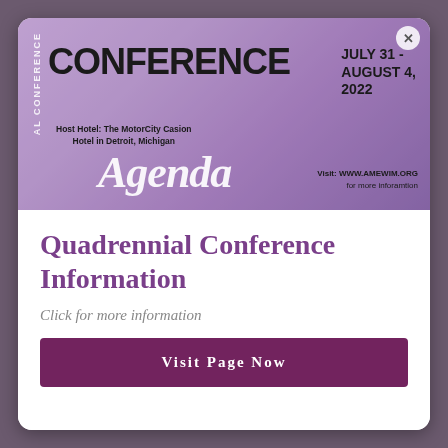[Figure (illustration): Conference agenda banner with purple gradient background, cityscape silhouette, large CONFERENCE text, script 'Agenda' text, date July 31 - August 4, 2022, host hotel information, and website URL.]
Quadrennial Conference Information
Click for more information
Visit Page Now